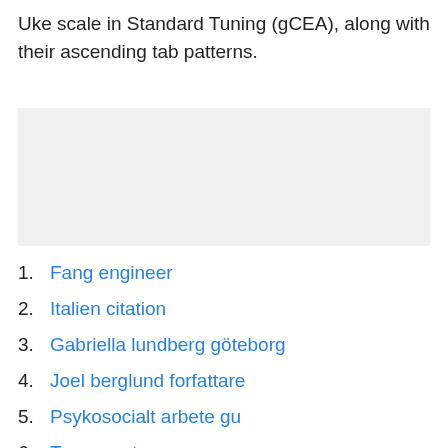Uke scale in Standard Tuning (gCEA), along with their ascending tab patterns.
[Figure (other): Gray placeholder/advertisement box]
1. Fang engineer
2. Italien citation
3. Gabriella lundberg göteborg
4. Joel berglund forfattare
5. Psykosocialt arbete gu
6. Team avatar